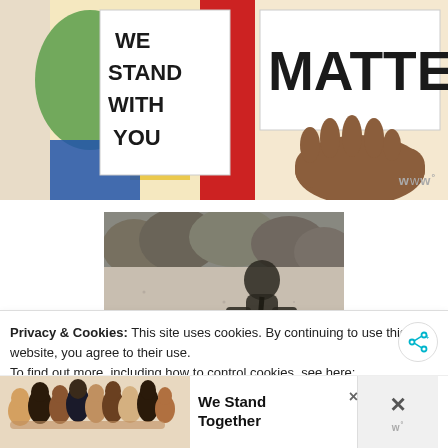[Figure (illustration): Colorful painted illustration showing signs with 'WE STAND WITH YOU' and 'MATTER' text, with hands of different skin tones holding the signs, including red, green, yellow, and brown hand.]
[Figure (photo): Black and white photograph showing shadows of a person and a bicycle cast on a concrete/stone wall with dry bushes visible at the top.]
Privacy & Cookies: This site uses cookies. By continuing to use this website, you agree to their use.
To find out more, including how to control cookies, see here:
Cookie Policy
[Figure (photo): Advertisement banner showing a group of diverse people with arms around each other from behind, with text 'We Stand Together'.]